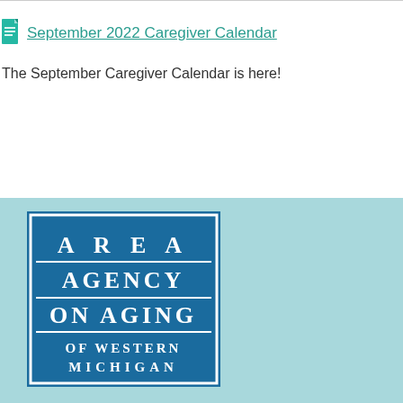September 2022 Caregiver Calendar
The September Caregiver Calendar is here!
[Figure (logo): Area Agency on Aging of Western Michigan logo — blue square with white text in stacked rows separated by white horizontal lines]